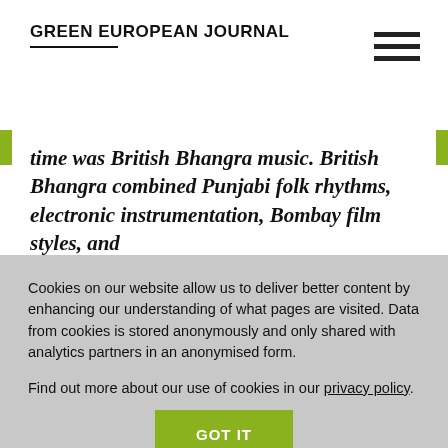GREEN EUROPEAN JOURNAL
time was British Bhangra music. British Bhangra combined Punjabi folk rhythms, electronic instrumentation, Bombay film styles, and
Cookies on our website allow us to deliver better content by enhancing our understanding of what pages are visited. Data from cookies is stored anonymously and only shared with analytics partners in an anonymised form.

Find out more about our use of cookies in our privacy policy.
GOT IT